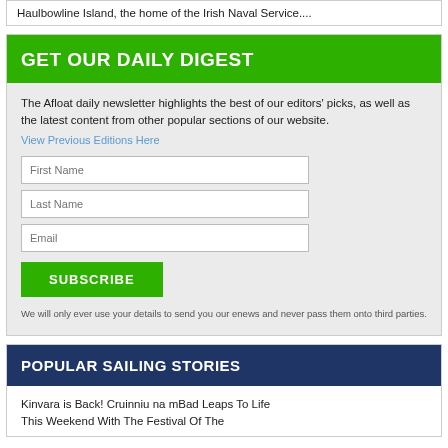Haulbowline Island, the home of the Irish Naval Service....
GET OUR DAILY DIGEST
The Afloat daily newsletter highlights the best of our editors' picks, as well as the latest content from other popular sections of our website.
View Previous Editions Here
First Name
Last Name
Email
SUBSCRIBE
We will only ever use your details to send you our enews and never pass them onto third parties.
POPULAR SAILING STORIES
Kinvara is Back! Cruinniu na mBad Leaps To Life This Weekend With The Festival Of The